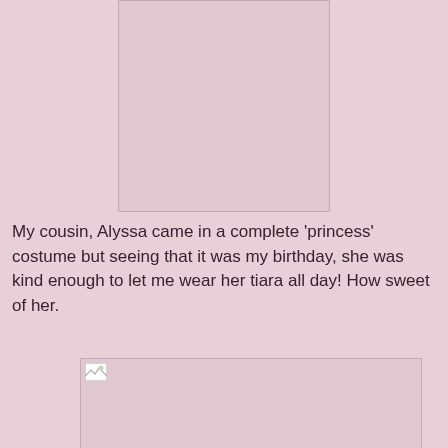[Figure (photo): Top image placeholder — a photo of Alyssa in princess costume (not loaded)]
My cousin, Alyssa came in a complete 'princess' costume but seeing that it was my birthday, she was kind enough to let me wear her tiara all day! How sweet of her.
[Figure (photo): Bottom image placeholder — a photo related to the birthday/tiara story (not loaded)]